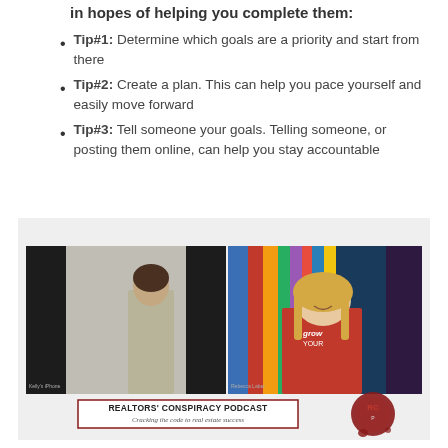in hopes of helping you complete them:
Tip#1: Determine which goals are a priority and start from there
Tip#2: Create a plan. This can help you pace yourself and easily move forward
Tip#3: Tell someone your goals. Telling someone, or posting them online, can help you stay accountable
[Figure (screenshot): Screenshot of a podcast video call with two women. Left panel shows a woman with dark hair in a white jacket against a plain background. Right panel shows a smiling blonde woman in a red 'grow your' shirt against a colorful art background. Below is the Realtors' Conspiracy Podcast logo with text 'Cracking the code to real estate success' and a red wax seal.]